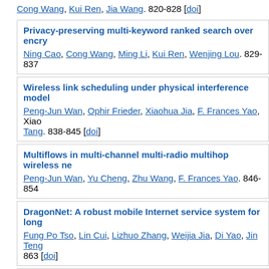Cong Wang, Kui Ren, Jia Wang. 820-828 [doi]
Privacy-preserving multi-keyword ranked search over encry... Ning Cao, Cong Wang, Ming Li, Kui Ren, Wenjing Lou. 829-837
Wireless link scheduling under physical interference model... Peng-Jun Wan, Ophir Frieder, Xiaohua Jia, F. Frances Yao, Xiao Tang. 838-845 [doi]
Multiflows in multi-channel multi-radio multihop wireless ne... Peng-Jun Wan, Yu Cheng, Zhu Wang, F. Frances Yao. 846-854
DragonNet: A robust mobile Internet service system for long... Fung Po Tso, Lin Cui, Lizhuo Zhang, Weijia Jia, Di Yao, Jin Teng. 863 [doi]
Delay constrained minimum energy broadcast in cooperativ... Marjan A. Baghaie, Bhaskar Krishnamachari. 864-872 [doi]